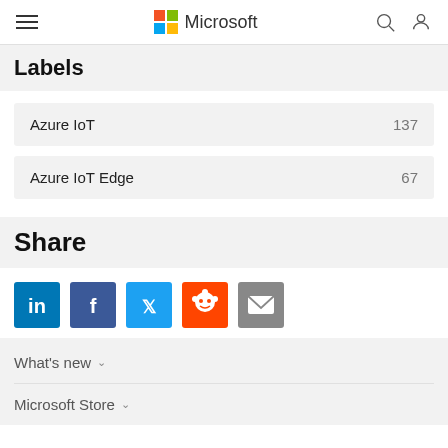Microsoft navigation bar with hamburger menu, Microsoft logo, search and account icons
Labels
Azure IoT  137
Azure IoT Edge  67
Share
[Figure (infographic): Social sharing icons: LinkedIn, Facebook, Twitter, Reddit, Email]
What's new
Microsoft Store